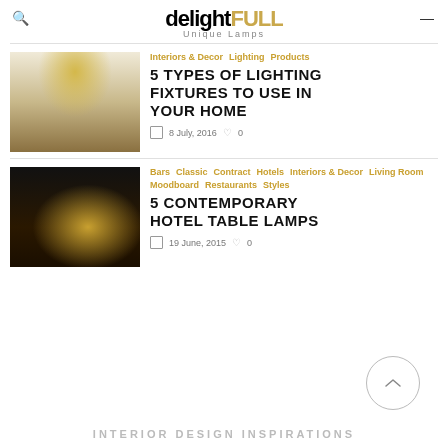delightFULL Unique Lamps
[Figure (photo): Interior room with decorative chandelier above a wooden sideboard against white paneled wall]
Interiors & Decor   Lighting   Products
5 TYPES OF LIGHTING FIXTURES TO USE IN YOUR HOME
8 July, 2016   0
[Figure (photo): Dark table lamp with dome shade and illuminated cylindrical base on a dark surface]
Bars   Classic   Contract   Hotels   Interiors & Decor   Living Room   Moodboard   Restaurants   Styles
5 CONTEMPORARY HOTEL TABLE LAMPS
19 June, 2015   0
INTERIOR DESIGN INSPIRATIONS